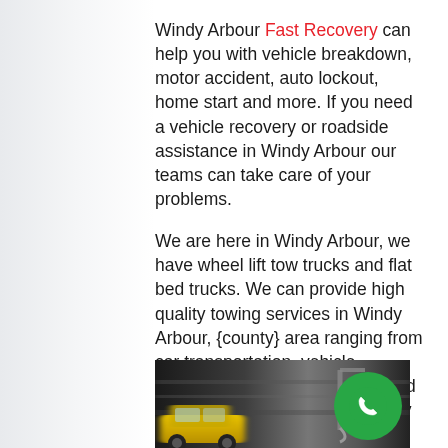Windy Arbour Fast Recovery can help you with vehicle breakdown, motor accident, auto lockout, home start and more. If you need a vehicle recovery or roadside assistance in Windy Arbour our teams can take care of your problems.
We are here in Windy Arbour, we have wheel lift tow trucks and flat bed trucks. We can provide high quality towing services in Windy Arbour, {county} area ranging from car transportation, vehicle breakdown recovery services and roadside assistance. We are fully insured, certified and bonded.
[Figure (photo): Blurred motion photo of a vehicle (yellow car visible at bottom left) being towed or in traffic, with a tow truck arm/hook visible, motion blur effect]